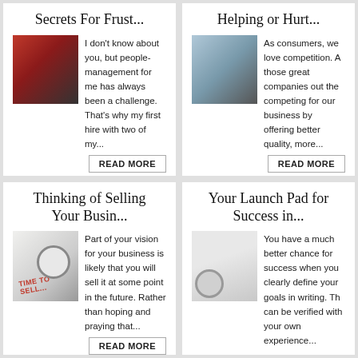Secrets For Frust...
I don't know about you, but people-management for me has always been a challenge. That's why my first hire with two of my...
Helping or Hurt...
As consumers, we love competition. A those great companies out the competing for our business by offering better quality, more...
Thinking of Selling Your Busin...
Part of your vision for your business is likely that you will sell it at some point in the future. Rather than hoping and praying that...
Your Launch Pad for Success in...
You have a much better chance for success when you clearly define your goals in writing. Th can be verified with your own experience...